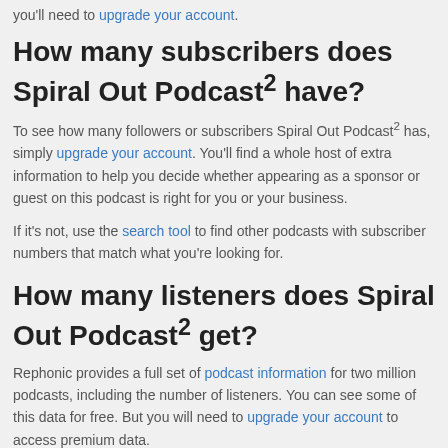you'll need to upgrade your account.
How many subscribers does Spiral Out Podcast² have?
To see how many followers or subscribers Spiral Out Podcast² has, simply upgrade your account. You'll find a whole host of extra information to help you decide whether appearing as a sponsor or guest on this podcast is right for you or your business.
If it's not, use the search tool to find other podcasts with subscriber numbers that match what you're looking for.
How many listeners does Spiral Out Podcast² get?
Rephonic provides a full set of podcast information for two million podcasts, including the number of listeners. You can see some of this data for free. But you will need to upgrade your account to access premium data.